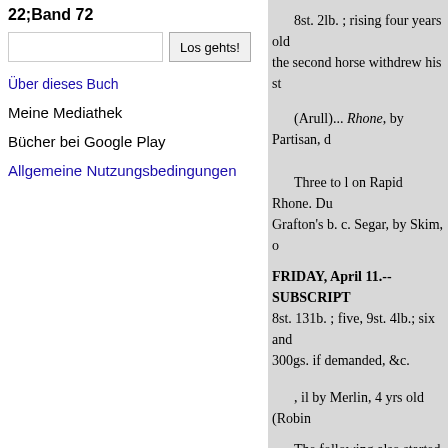22;Band 72
Los gehts! [search UI]
Über dieses Buch
Meine Mediathek
Bücher bei Google Play
Allgemeine Nutzungsbedingungen
8st. 2lb. ; rising four years old
the second horse withdrew his st
(Arull)... Rhone, by Partisan, d
Three to l on Rapid Rhone. Du Grafton's b. c. Segar, by Skim, o
FRIDAY, April 11.--SUBSCRIPT 8st. 131b. ; five, 9st. 4lb.; six and 300gs. if demanded, &c.
, il by Merlin, 4 yrs old (Robin
The following also started but Rainbow, dam by Donna Clara, J
Soothsayer, out of Eliza Teazle by Tramp, out Mr. Pettit's ch. c. Moses, out Mr. Rush's b. f. by Se
tagon, 2 yrs old...... Lord Groswe